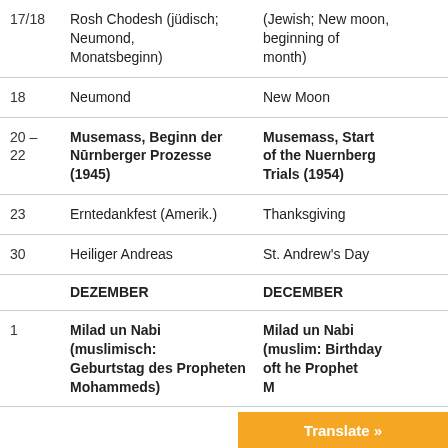| Date | German | English |
| --- | --- | --- |
| 17/18 | Rosh Chodesh (jüdisch; Neumond, Monatsbeginn) | (Jewish; New moon, beginning of month) |
| 18 | Neumond | New Moon |
| 20 –
22 | Musemass, Beginn der Nürnberger Prozesse (1945) | Musemass, Start of the Nuernberg Trials (1954) |
| 23 | Erntedankfest (Amerik.) | Thanksgiving |
| 30 | Heiliger Andreas | St. Andrew's Day |
|  | DEZEMBER | DECEMBER |
| 1 | Milad un Nabi (muslimisch: Geburtstag des Propheten Mohammeds) | Milad un Nabi (muslim: Birthday oft he Prophet M… |
Translate »